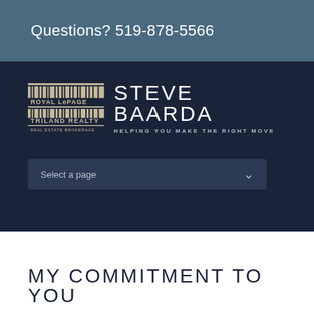Questions? 519-878-5566
[Figure (logo): Royal LePage Triland Realty logo with barcode-style stripes and Steve Baarda agent branding]
STEVE BAARDA
HELPING YOU MAKE THE RIGHT MOVE
Select a page
MY COMMITMENT TO YOU